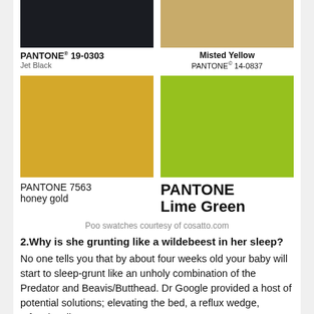[Figure (infographic): Pantone color swatches: Jet Black (19-0303) top left, Misted Yellow (14-0837) top right, honey gold (7563) bottom left, Lime Green bottom right]
Poo swatches courtesy of cosatto.com
2.Why is she grunting like a wildebeest in her sleep?
No one tells you that by about four weeks old your baby will start to sleep-grunt like an unholy combination of the Predator and Beavis/Butthead. Dr Google provided a host of potential solutions; elevating the bed, a reflux wedge, Infacol, colic water,